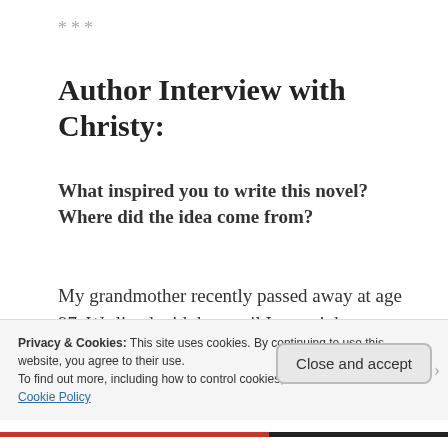***
Author Interview with Christy:
What inspired you to write this novel? Where did the idea come from?
My grandmother recently passed away at age 97. We lived with her until I was eight, so we were very close, and she was an artist. She instilled in me a love of creation that lives on through my
Privacy & Cookies: This site uses cookies. By continuing to use this website, you agree to their use.
To find out more, including how to control cookies, see here:
Cookie Policy
Close and accept